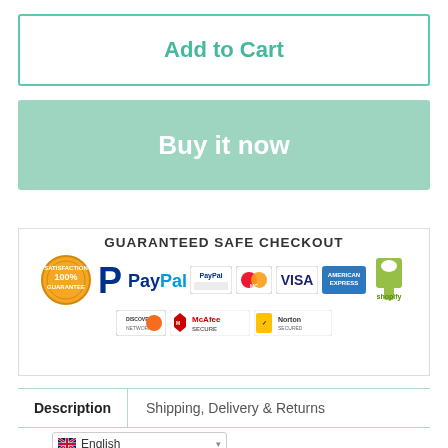Add to Cart
Buy it now
[Figure (infographic): Guaranteed Safe Checkout banner with payment logos: Satisfaction 100% Guarantee seal, PayPal, PayPal button, Discover Network, McAfee Secure, Norton Secured, MasterCard, Visa, American Express, Shopify]
| Description | Shipping, Delivery & Returns |
| --- | --- |
English